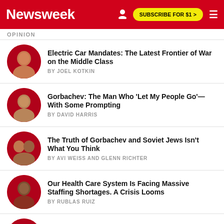Newsweek  SUBSCRIBE FOR $1 >
OPINION
Electric Car Mandates: The Latest Frontier of War on the Middle Class | BY JOEL KOTKIN
Gorbachev: The Man Who 'Let My People Go'—With Some Prompting | BY DAVID HARRIS
The Truth of Gorbachev and Soviet Jews Isn't What You Think | BY AVI WEISS AND GLENN RICHTER
Our Health Care System Is Facing Massive Staffing Shortages. A Crisis Looms | BY RUBLAS RUIZ
More People Are Talking About Suicide